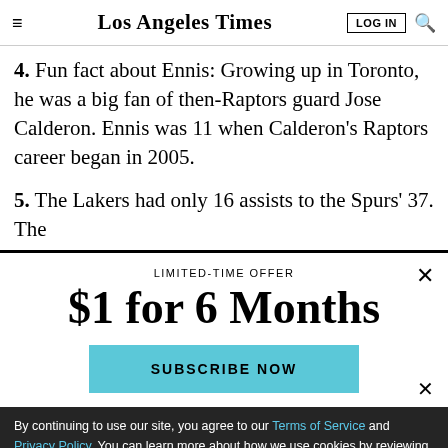Los Angeles Times
4. Fun fact about Ennis: Growing up in Toronto, he was a big fan of then-Raptors guard Jose Calderon. Ennis was 11 when Calderon's Raptors career began in 2005.
5. The Lakers had only 16 assists to the Spurs' 37. The
LIMITED-TIME OFFER
$1 for 6 Months
SUBSCRIBE NOW
By continuing to use our site, you agree to our Terms of Service and Privacy Policy. You can learn more about how we use cookies by reviewing our Privacy Policy. Close